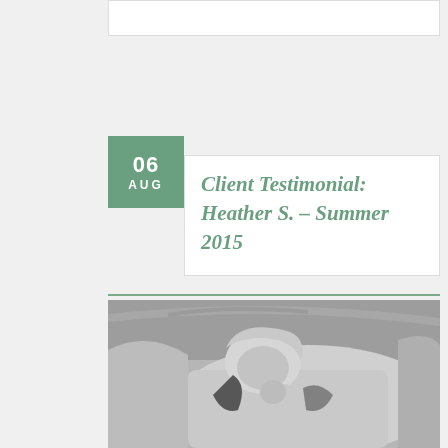Client Testimonial: Heather S. - Summer 2015
[Figure (photo): Grayscale photo of a mother holding a newborn baby in a hospital setting, lying in a hospital bed]